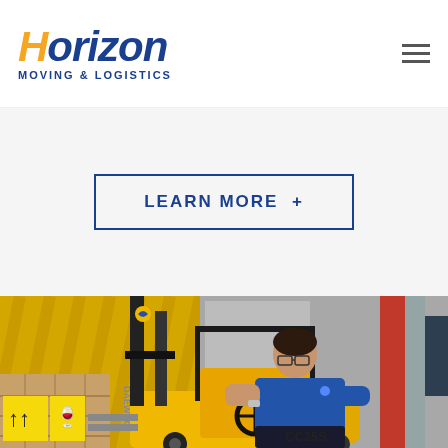Horizon Moving & Logistics
LEARN MORE +
[Figure (photo): Man in blue shirt operating a yellow Daewoo CC25S forklift in a warehouse, next to wooden shipping crates with handling labels]